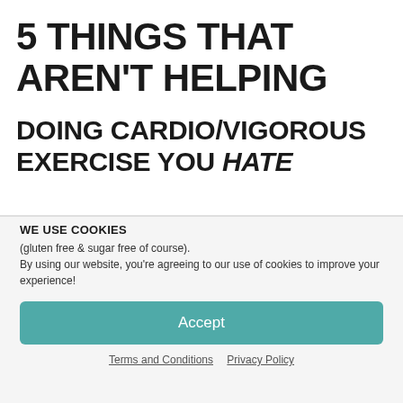5 THINGS THAT AREN'T HELPING
DOING CARDIO/VIGOROUS EXERCISE YOU HATE
WE USE COOKIES
(gluten free & sugar free of course).
By using our website, you're agreeing to our use of cookies to improve your experience!
Accept
Terms and Conditions   Privacy Policy